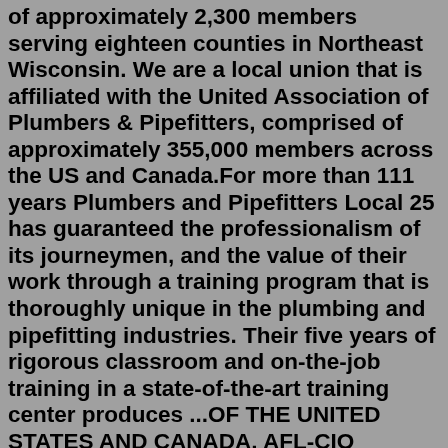of approximately 2,300 members serving eighteen counties in Northeast Wisconsin. We are a local union that is affiliated with the United Association of Plumbers & Pipefitters, comprised of approximately 355,000 members across the US and Canada.For more than 111 years Plumbers and Pipefitters Local 25 has guaranteed the professionalism of its journeymen, and the value of their work through a training program that is thoroughly unique in the plumbing and pipefitting industries. Their five years of rigorous classroom and on-the-job training in a state-of-the-art training center produces ...OF THE UNITED STATES AND CANADA, AFL-CIO (hereinafter called the —Union‖); WITNESSETH ... All wages and working conditions hereunder shall be effective on all plumbing, pipefitting, heating and air conditioning work performed by the Employer or by any person, firm or corporation owned or financially controlled by the Employer in the ...The average hourly pay for a Plumber is $22.71. Hourly Rate. $15 - $36. Bonus. $288 - $6k. Profit Sharing. $29 -